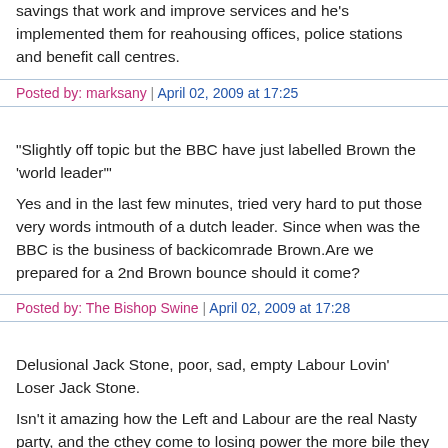savings that work and improve services and he's implemented them for real housing offices, police stations and benefit call centres.
Posted by: marksany | April 02, 2009 at 17:25
"Slightly off topic but the BBC have just labelled Brown the 'world leader'"
Yes and in the last few minutes, tried very hard to put those very words into mouth of a dutch leader. Since when was the BBC is the business of backing comrade Brown.Are we prepared for a 2nd Brown bounce should it come?
Posted by: The Bishop Swine | April 02, 2009 at 17:28
Delusional Jack Stone, poor, sad, empty Labour Lovin' Loser Jack Stone.
Isn't it amazing how the Left and Labour are the real Nasty party, and the cl they come to losing power the more bile they are willing to spit?!
Posted by: Geordie-Tory | April 02, 2009 at 17:28
This time last year, proposing public spending cuts would have resulted in hysterical postings abusing anybody who supported them - "extremist", "out touch with reality", "electoral suicide" would have been the least of it. You m